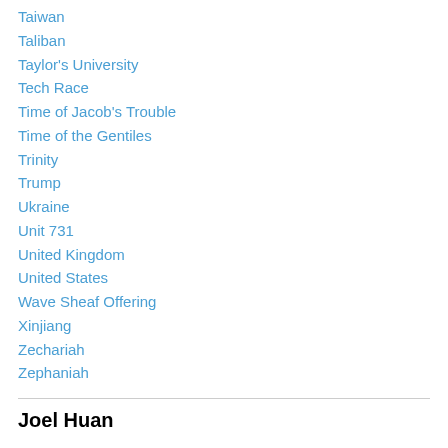Taiwan
Taliban
Taylor's University
Tech Race
Time of Jacob's Trouble
Time of the Gentiles
Trinity
Trump
Ukraine
Unit 731
United Kingdom
United States
Wave Sheaf Offering
Xinjiang
Zechariah
Zephaniah
Joel Huan